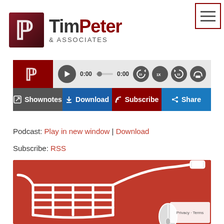[Figure (logo): Tim Peter & Associates logo with stylized T/P icon on dark red background square]
[Figure (screenshot): Podcast audio player widget with play button, progress bar, time 0:00, skip 15 back/forward, 1x speed, volume controls, and four action buttons: Shownotes, Download, Subscribe, Share]
Podcast: Play in new window | Download
Subscribe: RSS
[Figure (photo): Red background with a white wire-frame shopping cart made from a USB mouse cable, with a computer mouse at the bottom right]